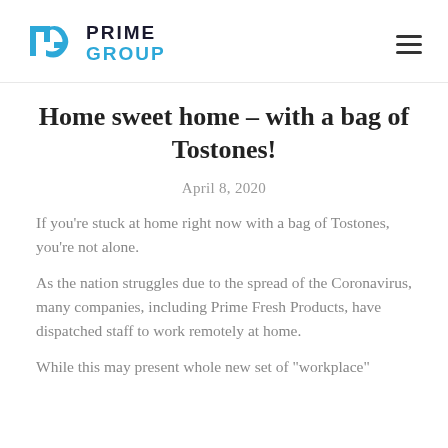Prime Group
Home sweet home – with a bag of Tostones!
April 8, 2020
If you’re stuck at home right now with a bag of Tostones, you’re not alone.
As the nation struggles due to the spread of the Coronavirus, many companies, including Prime Fresh Products, have dispatched staff to work remotely at home.
While this may present whole new set of “workplace”